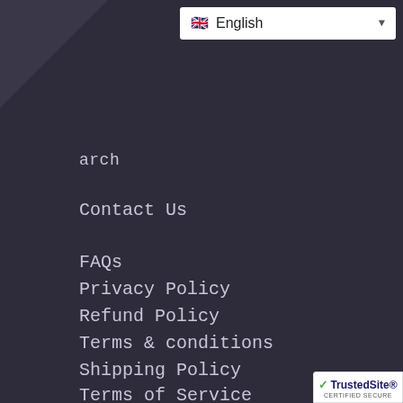[Figure (other): Diagonal banner in top-left corner with 'Join our list' text rotated 45 degrees]
English language selector dropdown in top-right area
arch
Contact Us
FAQs
Privacy Policy
Refund Policy
Terms & conditions
Shipping Policy
Terms of Service
[Figure (logo): TrustedSite Certified Secure badge in bottom-right corner]